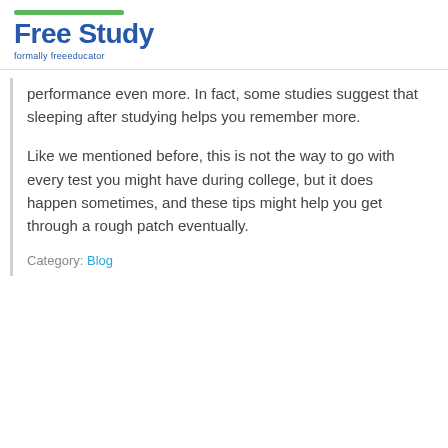Free Study
formally freeeducator
performance even more. In fact, some studies suggest that sleeping after studying helps you remember more.
Like we mentioned before, this is not the way to go with every test you might have during college, but it does happen sometimes, and these tips might help you get through a rough patch eventually.
Category: Blog